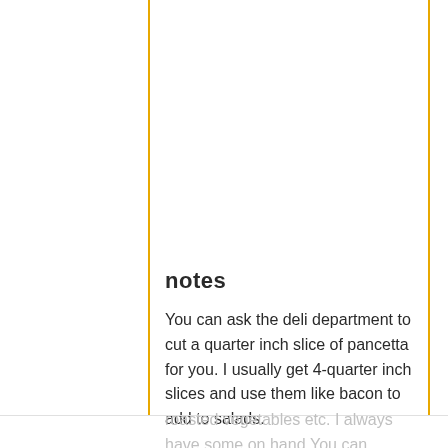notes
You can ask the deli department to cut a quarter inch slice of pancetta for you. I usually get 4-quarter inch slices and use them like bacon to add to salads.
roasted vegetables etc. I always have some on hand.You can